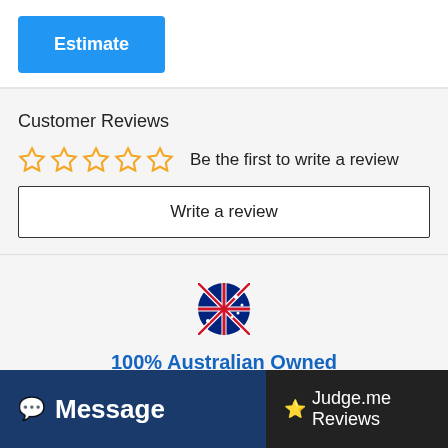[Figure (screenshot): Blue 'Estimate' button]
Customer Reviews
☆☆☆☆☆  Be the first to write a review
Write a review
[Figure (illustration): Australian flag emoji]
100% Australian Owned
Australia Toy Shop
Message
Judge.me Reviews